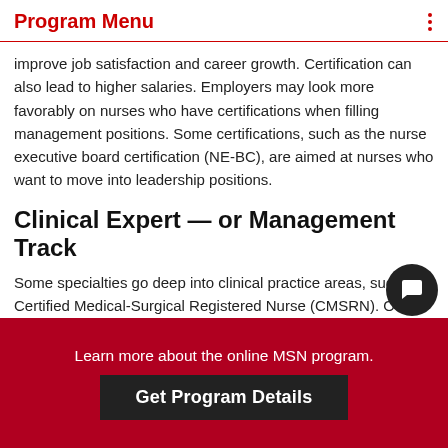Program Menu
improve job satisfaction and career growth. Certification can also lead to higher salaries. Employers may look more favorably on nurses who have certifications when filling management positions. Some certifications, such as the nurse executive board certification (NE-BC), are aimed at nurses who want to move into leadership positions.
Clinical Expert — or Management Track
Some specialties go deep into clinical practice areas, such as Certified Medical-Surgical Registered Nurse (CMSRN). Other options lean toward management, such as Certified Nurse Manager and Leader (CNML). Depending on their goals,
Learn more about the online MSN program. Get Program Details